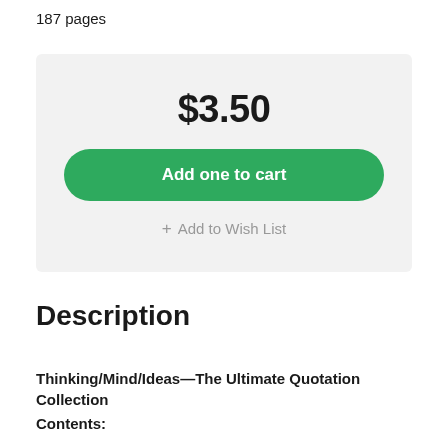187 pages
$3.50
Add one to cart
+ Add to Wish List
Description
Thinking/Mind/Ideas—The Ultimate Quotation Collection
Contents: